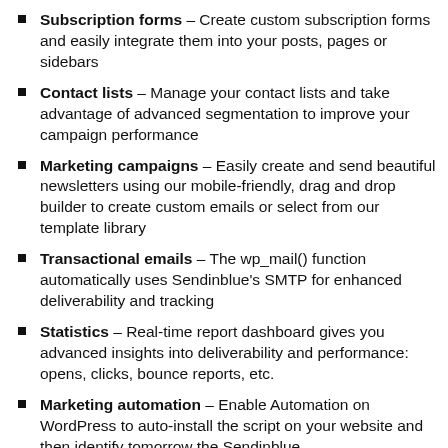Subscription forms – Create custom subscription forms and easily integrate them into your posts, pages or sidebars
Contact lists – Manage your contact lists and take advantage of advanced segmentation to improve your campaign performance
Marketing campaigns – Easily create and send beautiful newsletters using our mobile-friendly, drag and drop builder to create custom emails or select from our template library
Transactional emails – The wp_mail() function automatically uses Sendinblue's SMTP for enhanced deliverability and tracking
Statistics – Real-time report dashboard gives you advanced insights into deliverability and performance: opens, clicks, bounce reports, etc.
Marketing automation – Enable Automation on WordPress to auto-install the script on your website and then identify tomorrow the Sendinblue...